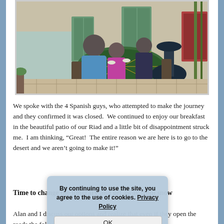[Figure (photo): A family of three (an adult man and two children) sitting at a mosaic table in the courtyard patio of a Riad in Morocco, with a decorative fountain nearby, tiled walls, and green shuttered doors in the background.]
We spoke with the 4 Spanish guys, who attempted to make the journey and they confirmed it was closed.  We continued to enjoy our breakfast in the beautiful patio of our Riad and a little bit of disappointment struck me.  I am thinking, “Great!  The entire reason we are here is to go to the desert and we aren’t going to make it!”
Time to change the itinerary and get away from snow
Alan and I discuss our options and realize that even if they open the roads the following day, it wouldn’t be in our
By continuing to use the site, you agree to the use of cookies. Privacy Policy
OK